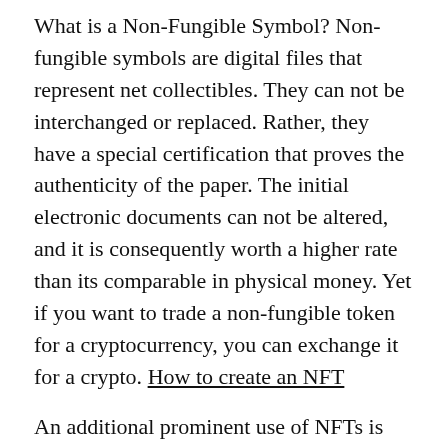What is a Non-Fungible Symbol? Non-fungible symbols are digital files that represent net collectibles. They can not be interchanged or replaced. Rather, they have a special certification that proves the authenticity of the paper. The initial electronic documents can not be altered, and it is consequently worth a higher rate than its comparable in physical money. Yet if you want to trade a non-fungible token for a cryptocurrency, you can exchange it for a crypto. How to create an NFT
An additional prominent use of NFTs is the sale of electronic art. Twitter CEO Jack Dorsey sold his very first released tweet with an NFT for $2.9 million. This shows the value of electronic possessions. Yet the genuine worth of NFTs is in their collector's market. And also the rates are rising, too. A single non-fungible token can fetch up to $69 million at an auction home. If you want to purchase non-fungible